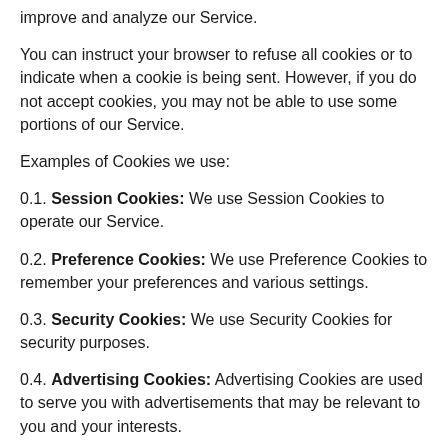improve and analyze our Service.
You can instruct your browser to refuse all cookies or to indicate when a cookie is being sent. However, if you do not accept cookies, you may not be able to use some portions of our Service.
Examples of Cookies we use:
0.1. Session Cookies: We use Session Cookies to operate our Service.
0.2. Preference Cookies: We use Preference Cookies to remember your preferences and various settings.
0.3. Security Cookies: We use Security Cookies for security purposes.
0.4. Advertising Cookies: Advertising Cookies are used to serve you with advertisements that may be relevant to you and your interests.